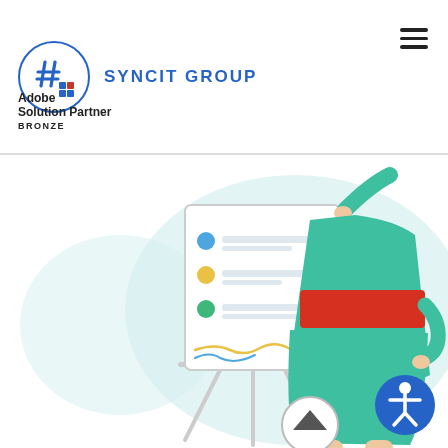SYNCIT GROUP
Adobe Solution Partner
BRONZE
[Figure (illustration): Illustration of a woman in a teal/green dress with a red belt and red shoes, standing next to a presentation easel/flip chart board. The board shows colored dots (blue, yellow, green) with lines. Background has a light blue/teal rounded shape. Bottom right has a blue accessibility icon circle and a scroll-to-top button circle.]